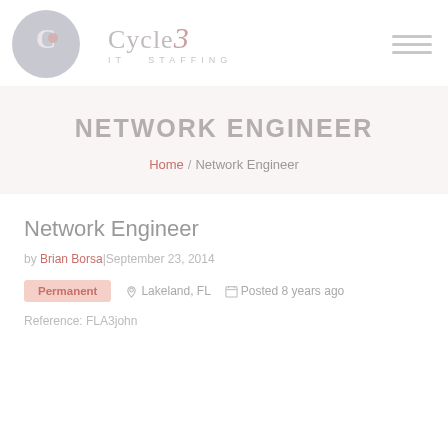[Figure (logo): Cycle3 IT Staffing logo: grey circle with stylized C, company name wordmark]
NETWORK ENGINEER
Home / Network Engineer
Network Engineer
by Brian Borsa|September 23, 2014
Permanent   Lakeland, FL   Posted 8 years ago
Reference: FLA3john